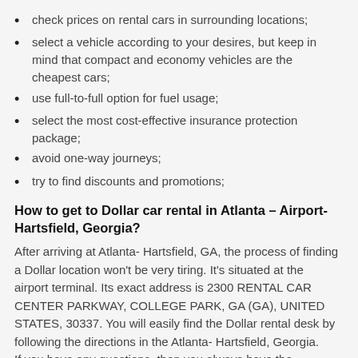check prices on rental cars in surrounding locations;
select a vehicle according to your desires, but keep in mind that compact and economy vehicles are the cheapest cars;
use full-to-full option for fuel usage;
select the most cost-effective insurance protection package;
avoid one-way journeys;
try to find discounts and promotions;
How to get to Dollar car rental in Atlanta – Airport-Hartsfield, Georgia?
After arriving at Atlanta- Hartsfield, GA, the process of finding a Dollar location won't be very tiring. It's situated at the airport terminal. Its exact address is 2300 RENTAL CAR CENTER PARKWAY, COLLEGE PARK, GA (GA), UNITED STATES, 30337. You will easily find the Dollar rental desk by following the directions in the Atlanta- Hartsfield, Georgia.
If you have any questions, then you always have the opportunity to contact the local office via Dollar phone number: 866-434-2226, 404-559-0457.